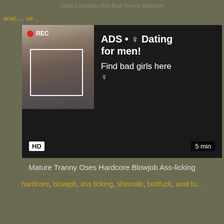Dude Copulates Ass Anal Tranny Shemale
anal, ... se...
[Figure (screenshot): Video player with REC indicator overlay showing a woman taking a selfie in a mirror. An ad overlay reads: ADS • ♀ Dating for men! Find bad girls here ♀. HD badge bottom-left, 5 min duration bottom-right.]
Mature Tranny Oses Hardcore Blowjob Ass-licking
hardcore, blowjob, ass licking, shemale, buttfuck, anal fu...